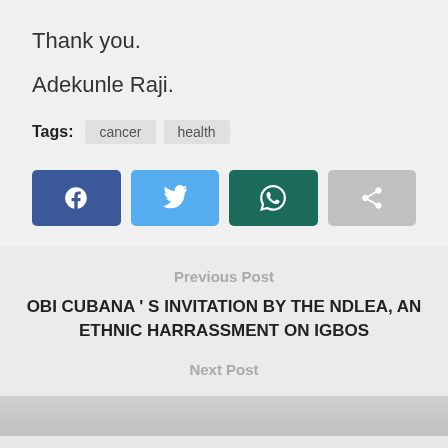Thank you.
Adekunle Raji.
Tags: cancer health
[Figure (other): Social share buttons: Facebook (blue), Twitter (light blue), WhatsApp (dark teal), Share (grey)]
Previous Post
OBI CUBANA ' S INVITATION BY THE NDLEA, AN ETHNIC HARRASSMENT ON IGBOS
Next Post